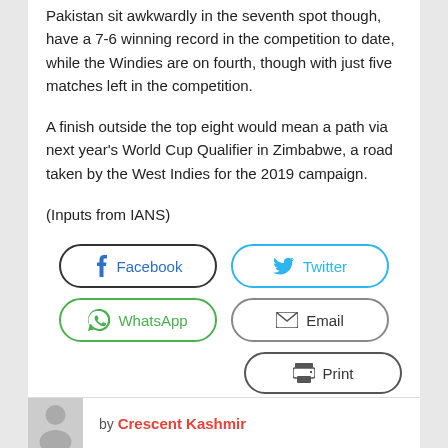Pakistan sit awkwardly in the seventh spot though, have a 7-6 winning record in the competition to date, while the Windies are on fourth, though with just five matches left in the competition.
A finish outside the top eight would mean a path via next year's World Cup Qualifier in Zimbabwe, a road taken by the West Indies for the 2019 campaign.
(Inputs from IANS)
[Figure (infographic): Social sharing buttons: Facebook, Twitter, WhatsApp, Email, Print]
by Crescent Kashmir